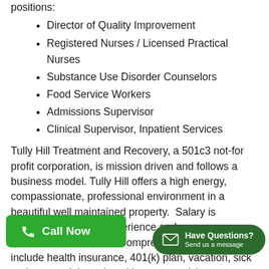positions:
Director of Quality Improvement
Registered Nurses / Licensed Practical Nurses
Substance Use Disorder Counselors
Food Service Workers
Admissions Supervisor
Clinical Supervisor, Inpatient Services
Tully Hill Treatment and Recovery, a 501c3 not-for profit corporation, is mission driven and follows a business model. Tully Hill offers a high energy, compassionate, professional environment in a beautiful well maintained property.  Salary is commensurate with experience and education/credentials.  Comprehensive benefits include health insurance, 401(k) plan, vacation, sick and personal time, dental insurance, vision insurance and voluntary life insurance